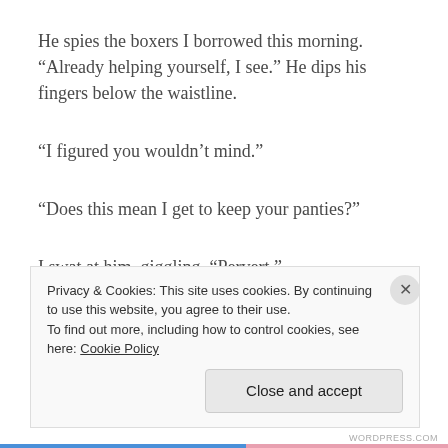He spies the boxers I borrowed this morning. “Already helping yourself, I see.” He dips his fingers below the waistline.
“I figured you wouldn’t mind.”
“Does this mean I get to keep your panties?”
I swat at him, giggling. “Pervert.”
At that he flips me onto my back with what appears to
Privacy & Cookies: This site uses cookies. By continuing to use this website, you agree to their use.
To find out more, including how to control cookies, see here: Cookie Policy

Close and accept